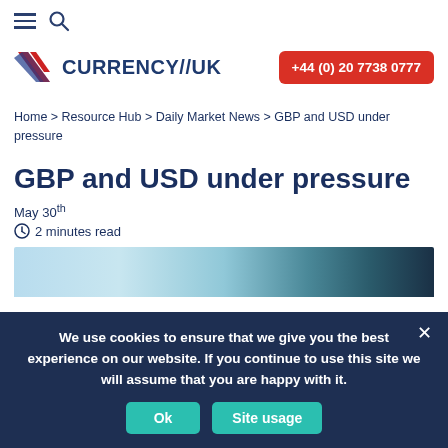≡ 🔍
[Figure (logo): Currency//UK logo with red/blue diagonal flag icon and dark blue bold text 'CURRENCY//UK', and red phone button '+44 (0) 20 7738 0777']
Home > Resource Hub > Daily Market News > GBP and USD under pressure
GBP and USD under pressure
May 30th
🕐 2 minutes read
[Figure (photo): Partial article image showing blurred blue/teal background, top edge visible]
We use cookies to ensure that we give you the best experience on our website. If you continue to use this site we will assume that you are happy with it.